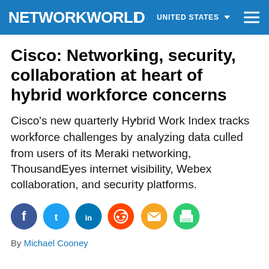NETWORKWORLD  UNITED STATES
Cisco: Networking, security, collaboration at heart of hybrid workforce concerns
Cisco’s new quarterly Hybrid Work Index tracks workforce challenges by analyzing data culled from users of its Meraki networking, ThousandEyes internet visibility, Webex collaboration, and security platforms.
[Figure (infographic): Social sharing buttons: Facebook, Twitter, LinkedIn, Reddit, Email, Print]
By Michael Cooney